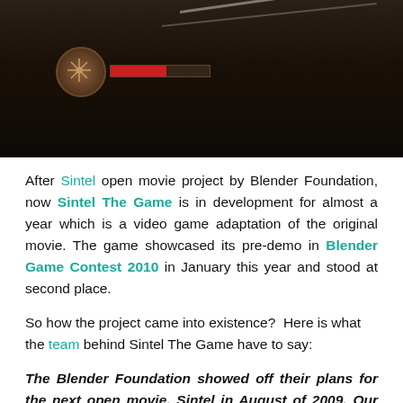[Figure (screenshot): Dark game screenshot showing a HUD with a circular compass/crosshair icon and a red health bar, with cables/ropes visible in the background against a dark environment.]
After Sintel open movie project by Blender Foundation, now Sintel The Game is in development for almost a year which is a video game adaptation of the original movie. The game showcased its pre-demo in Blender Game Contest 2010 in January this year and stood at second place.
So how the project came into existence?  Here is what the team behind Sintel The Game have to say:
The Blender Foundation showed off their plans for the next open movie, Sintel in August of 2009. Our team was struck with inspiration so we tossed around the idea of working together to make a game project that would